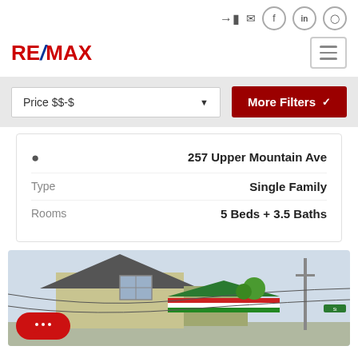[Figure (logo): RE/MAX logo in red and blue]
Price $$-$
More Filters
257 Upper Mountain Ave
Type    Single Family
Rooms    5 Beds + 3.5 Baths
[Figure (photo): Street-level photo of a house with beige siding and a green awning structure in front]